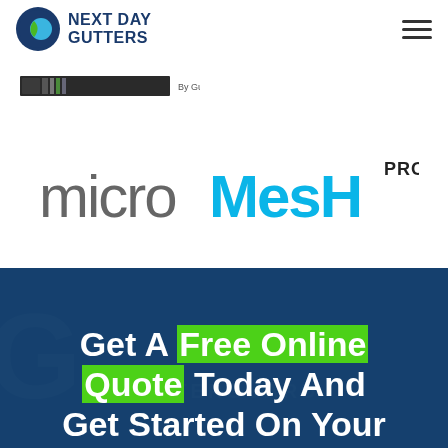Next Day Gutters
[Figure (logo): Partial banner image showing Gutterglove brand strip with colored stripes and 'By Gutterglove' text]
[Figure (logo): microMeshPRO logo — 'micro' in gray, 'MesH' in cyan/blue, 'PRO' in small black superscript]
Get A Free Online Quote Today And Get Started On Your